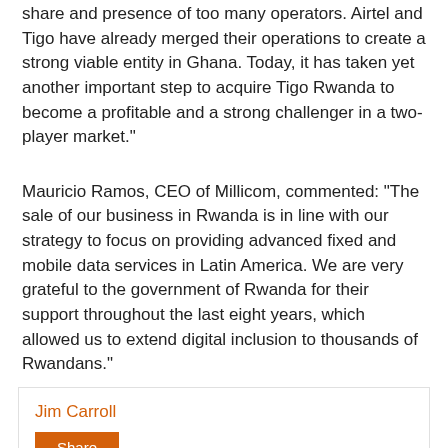share and presence of too many operators. Airtel and Tigo have already merged their operations to create a strong viable entity in Ghana. Today, it has taken yet another important step to acquire Tigo Rwanda to become a profitable and a strong challenger in a two-player market."
Mauricio Ramos, CEO of Millicom, commented: "The sale of our business in Rwanda is in line with our strategy to focus on providing advanced fixed and mobile data services in Latin America. We are very grateful to the government of Rwanda for their support throughout the last eight years, which allowed us to extend digital inclusion to thousands of Rwandans."
Jim Carroll
Share
CyrusOne builds a massive data center campus near Atlanta